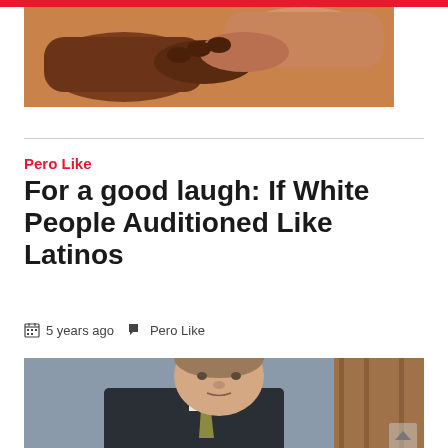[Figure (photo): Close-up of two hands clasped together, one darker skinned and one lighter skinned, against a white background]
Pero Like
For a good laugh: If White People Auditioned Like Latinos
5 years ago   Pero Like
[Figure (photo): Middle-aged white man in a dark suit with olive/gold tie, speaking or presenting, with a wooden background element visible]